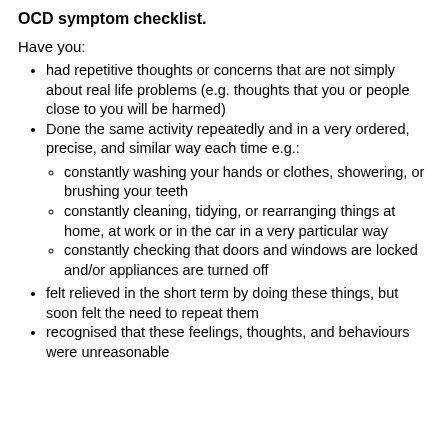OCD symptom checklist.
Have you:
had repetitive thoughts or concerns that are not simply about real life problems (e.g. thoughts that you or people close to you will be harmed)
Done the same activity repeatedly and in a very ordered, precise, and similar way each time e.g.:
constantly washing your hands or clothes, showering, or brushing your teeth
constantly cleaning, tidying, or rearranging things at home, at work or in the car in a very particular way
constantly checking that doors and windows are locked and/or appliances are turned off
felt relieved in the short term by doing these things, but soon felt the need to repeat them
recognised that these feelings, thoughts, and behaviours were unreasonable